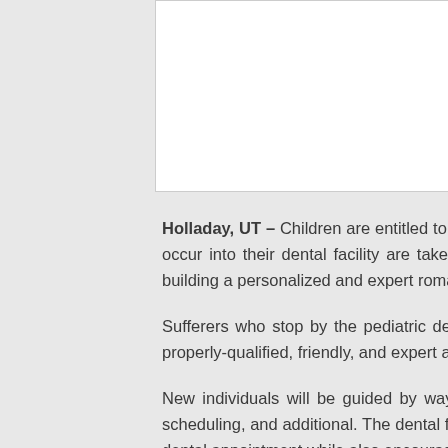[Figure (other): White rectangular image placeholder box at the top of the page]
Holladay, UT – Children are entitled to accessibility companies. This is why the crew at Clever Dental who occur into their dental facility are taken care of the foundation of their dental treatment and cure w building a personalized and expert romantic relation watch every single patient's oral healthcare journey.
Sufferers who stop by the pediatric dentists will co hassle-cost-free dental practical experience. All in properly-qualified, friendly, and expert administrative offer their support to patients.
New individuals will be guided by way of the registra such as funding programs, insurance policy pr scheduling, and additional. The dental facility has a wait ahead of their dental appointment. The ready lo dental appointment while also encouraging them to ta